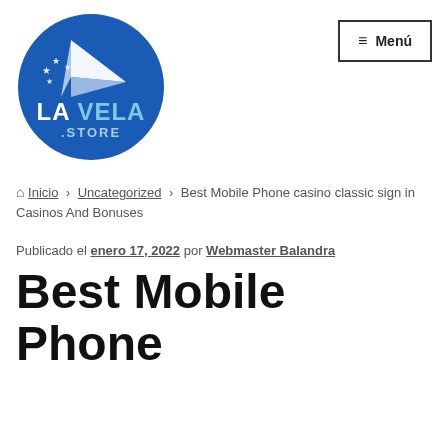[Figure (logo): La Vela Store circular logo — blue circle with white paper airplane/arrow shape, four stars on the left, 'LA VELA' in bold white/light blue text, '.STORE' below in lighter text]
≡ Menú
🏠 Inicio › Uncategorized › Best Mobile Phone casino classic sign in Casinos And Bonuses
Publicado el enero 17, 2022 por Webmaster Balandra
Best Mobile Phone